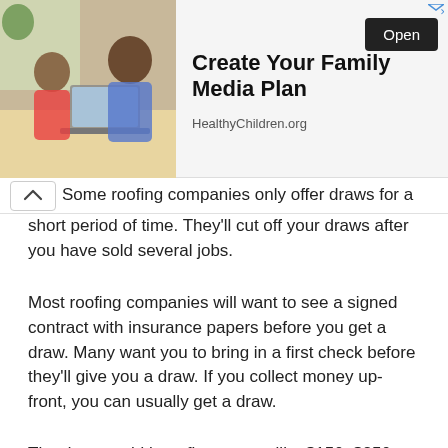[Figure (other): Advertisement banner: Family media plan ad with image of a father and child at a laptop. Title: 'Create Your Family Media Plan', domain: HealthyChildren.org, Open button.]
Some roofing companies only offer draws for a short period of time. They'll cut off your draws after you have sold several jobs.
Most roofing companies will want to see a signed contract with insurance papers before you get a draw. Many want you to bring in a first check before they'll give you a draw. If you collect money up-front, you can usually get a draw.
The draw could be a flat amount like $150, $250,